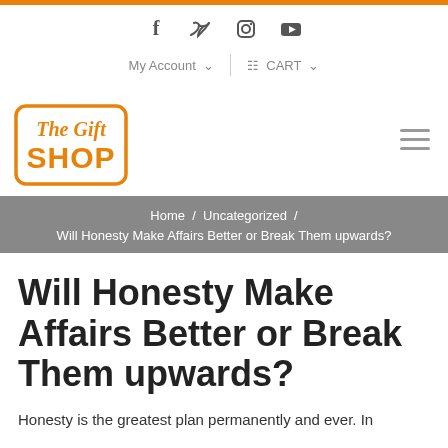[Figure (logo): Social media icons row: Facebook (f), Twitter (bird), Instagram (circle/camera), YouTube (play button)]
My Account  ∨    CART  ∨
[Figure (logo): The Gift Shop logo — script 'The Gift' above bold 'SHOP' in orange, inside a rounded rectangle border]
Home / Uncategorized / Will Honesty Make Affairs Better or Break Them upwards?
Will Honesty Make Affairs Better or Break Them upwards?
Honesty is the greatest plan permanently and ever. In